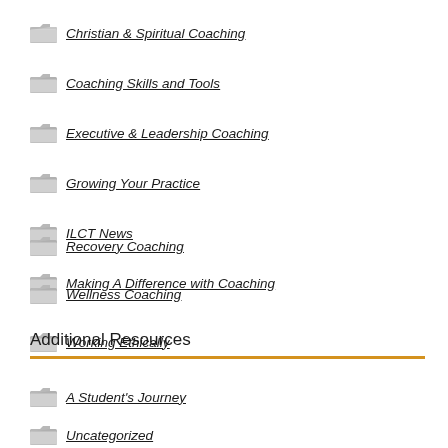Christian & Spiritual Coaching
Coaching Skills and Tools
Executive & Leadership Coaching
Growing Your Practice
ILCT News
Making A Difference with Coaching
Recovery Coaching
Wellness Coaching
Working Ethically
Additional Resources
A Student's Journey
Uncategorized